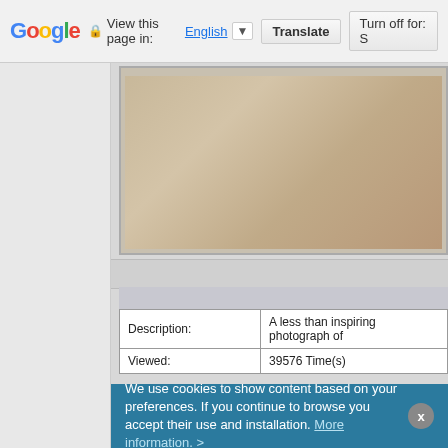Google | View this page in: English ▼ | Translate | Turn off for: S
[Figure (photo): A cropped view of a blurred beige/tan surface photograph in a bordered frame]
| Description: | A less than inspiring photograph of |
| Viewed: | 39576 Time(s) |
[Figure (photo): A blurred photograph showing an envelope on a beige surface]
We use cookies to show content based on your preferences. If you continue to browse you accept their use and installation. More information. >